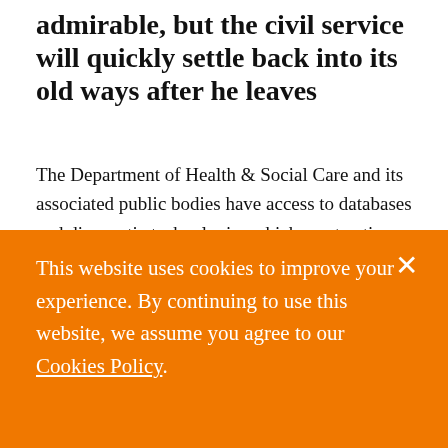admirable, but the civil service will quickly settle back into its old ways after he leaves
The Department of Health & Social Care and its associated public bodies have access to databases and diagnostic technologies which most nations can only dream of. We produce terabytes of data on patient outcomes and epidemiological statistics. The emergency legislation enacted in March has
This website uses cookies to improve your experience. By continuing to use this website, we assume you agree to our Cookies Policy.